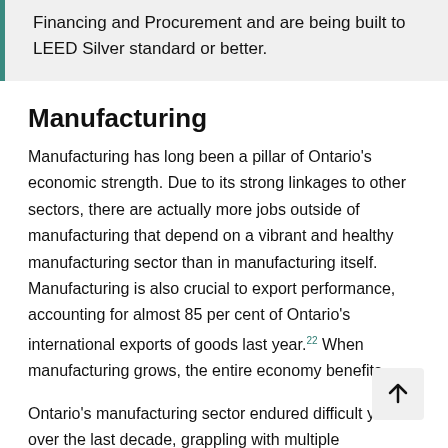Financing and Procurement and are being built to LEED Silver standard or better.
Manufacturing
Manufacturing has long been a pillar of Ontario’s economic strength. Due to its strong linkages to other sectors, there are actually more jobs outside of manufacturing that depend on a vibrant and healthy manufacturing sector than in manufacturing itself. Manufacturing is also crucial to export performance, accounting for almost 85 per cent of Ontario’s international exports of goods last year.22 When manufacturing grows, the entire economy benefits.
Ontario’s manufacturing sector endured difficult years over the last decade, grappling with multiple challenges including a strong Canadian dollar,